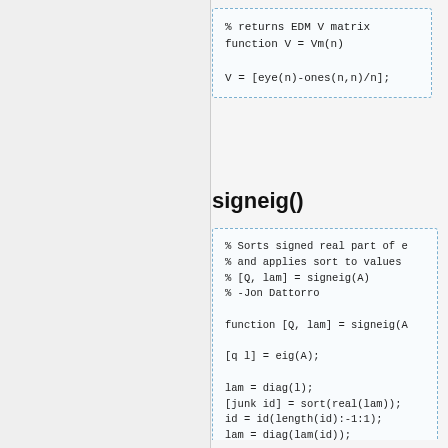[Figure (other): Code block: % returns EDM V matrix
function V = Vm(n)

V = [eye(n)-ones(n,n)/n];]
signeig()
[Figure (other): Code block: % Sorts signed real part of e
% and applies sort to values
% [Q, lam] = signeig(A)
% -Jon Dattorro

function [Q, lam] = signeig(A

[q l] = eig(A);

lam = diag(l);
[junk id] = sort(real(lam));
id = id(length(id):-1:1);
lam = diag(lam(id));
Q = q(:,id);

if nargout < 2
    Q = diag(lam);
end]